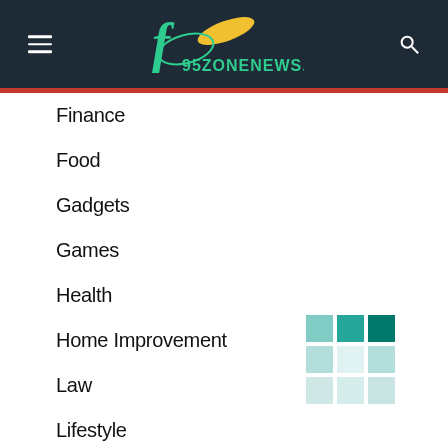95zonenews.com
Finance
Food
Gadgets
Games
Health
Home Improvement
Law
Lifestyle
News
Social Media
Sports
Technology
[Figure (other): 3x3 teal color grid/heatmap thumbnail]